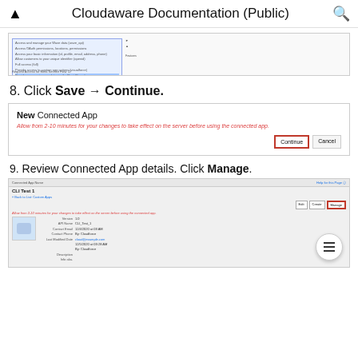Cloudaware Documentation (Public)
[Figure (screenshot): Screenshot showing a list of OAuth scopes/permissions with some items highlighted in blue, including options like 'Access and manage your Wave data', 'Access OAuth permissions', 'Allow customers unique identifier', 'Full access', 'Provide access to custom app', 'Provide access to data via the Rest API'. A checkbox is visible at the bottom.]
8. Click Save → Continue.
[Figure (screenshot): Screenshot showing 'New Connected App' dialog with text 'Allow from 2-10 minutes for your changes to take effect on the server before using the connected app.' and buttons 'Continue' (highlighted with red border) and 'Cancel'.]
9. Review Connected App details. Click Manage.
[Figure (screenshot): Screenshot showing Connected App Name 'CLI Test 1' detail page with Edit, Create, Manage buttons (Manage highlighted with red border), warning text about 2-10 minutes, logo area, and fields for Version, API Name, Contact Email, Contact Phone, Last Modified Date, and Description. A floating action button with hamburger menu icon is in the bottom right.]